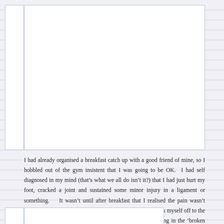I had already organised a breakfast catch up with a good friend of mine, so I hobbled out of the gym insistent that I was going to be OK.  I had self diagnosed in my mind (that’s what we all do isn’t it?) that I had just hurt my foot, cracked a joint and sustained some minor injury in a ligament or something.    It wasn’t until after breakfast that I realised the pain wasn’t getting better, I was less capable of hobbling around and took myself off to the local private emergency hospital for a quick check, resulting in the ‘broken bone’ diagnosis.  A moon boot, some crutches and instructions to rest for 4-6 weeks and I was on my way.